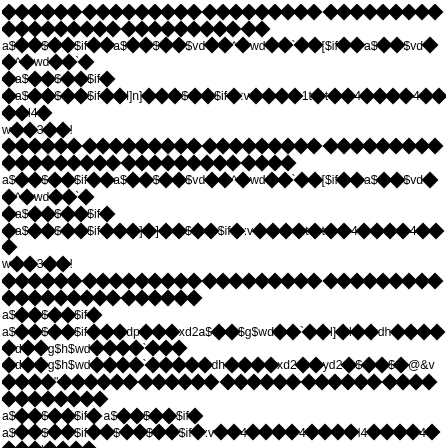Corrupted or encoded document content with diamond replacement characters interspersed with text fragments including: a$[]$[]$if[]a$[]$[]$vd[]^[]wd[]`[][$if[]a$[]$[]$vd[]^[]wd[]`[] []a$[]$[]$if[] []a$[]$[]$if[][]l]n][][]$[]$[]$if[]:v[][][][]1t[]t[][]4[][][]4[][][]l4[] w[][]3[][]!... repeated patterns with dp, xd2, g$wd, dh, yd2, @&v, ojqj and other fragments